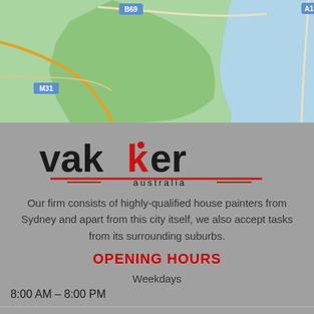[Figure (map): Google Maps screenshot showing Royal National Park area near Sydney, Australia, with road labels B69, A1, M31 and green terrain with blue water on the right.]
[Figure (logo): Vakker Australia logo with 'vakker' in bold black and red lettering, with a red underline and 'australia' text beneath.]
Our firm consists of highly-qualified house painters from Sydney and apart from this city itself, we also accept tasks from its surrounding suburbs.
OPENING HOURS
Weekdays
8:00 AM – 8:00 PM
Saturday
9:30 AM – 5:00 PM